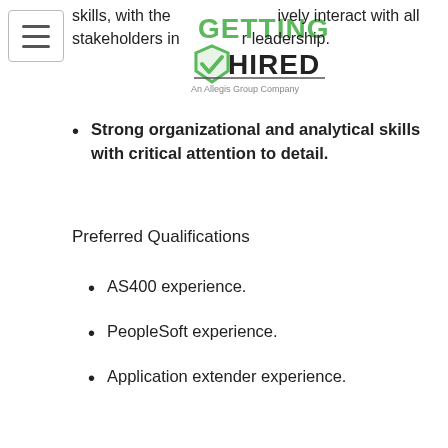[Figure (logo): Getting Hired logo — an Allegis Group Company, with green checkmark and bold text]
skills, with the ability to effectively interact with all stakeholders in a cross-functional leadership.
Strong organizational and analytical skills with critical attention to detail.
Preferred Qualifications
AS400 experience.
PeopleSoft experience.
Application extender experience.
COVID-19 Update:
CDW is committed to maintaining a workplace that is free of known hazards and to ensuring the safety,
By clicking “Accept All Cookies” you agree to the storing of cookies on your device to enhance site navigation, analyze site usage and assist in our marketing efforts. To learn more about our use of